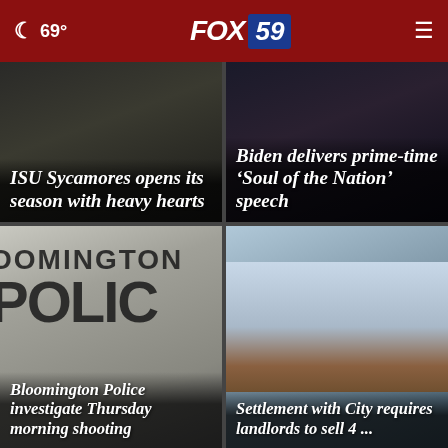69° FOX 59
[Figure (photo): Dark background photo with text overlay: ISU Sycamores opens its season with heavy hearts]
ISU Sycamores opens its season with heavy hearts
[Figure (photo): Dark background photo with text overlay: Biden delivers prime-time 'Soul of the Nation' speech]
Biden delivers prime-time ‘Soul of the Nation’ speech
[Figure (photo): Photo of Bloomington Police car door with text overlay]
Bloomington Police investigate Thursday morning shooting
[Figure (photo): Photo of a brick building with text overlay: Settlement with City requires landlords to sell 4 ...]
Settlement with City requires landlords to sell 4 ...